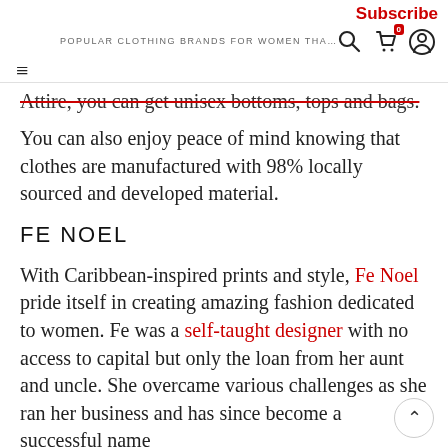Subscribe | POPULAR CLOTHING BRANDS FOR WOMEN THA...
Attire, you can get unisex bottoms, tops and bags. You can also enjoy peace of mind knowing that clothes are manufactured with 98% locally sourced and developed material.
FE NOEL
With Caribbean-inspired prints and style, Fe Noel pride itself in creating amazing fashion dedicated to women. Fe was a self-taught designer with no access to capital but only the loan from her aunt and uncle. She overcame various challenges as she ran her business and has since become a successful name